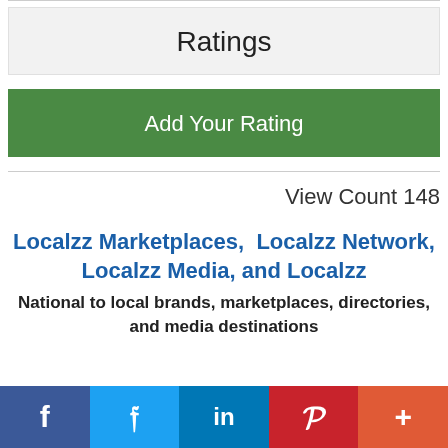Ratings
Add Your Rating
View Count 148
Localzz Marketplaces,  Localzz Network, Localzz Media, and Localzz
National to local brands, marketplaces, directories, and media destinations
f  Twitter  in  P  +